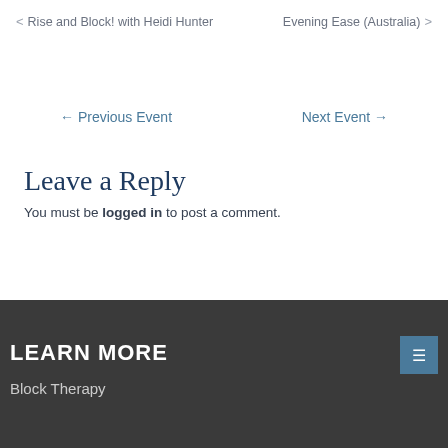< Rise and Block! with Heidi Hunter     Evening Ease (Australia) >
← Previous Event     Next Event →
Leave a Reply
You must be logged in to post a comment.
LEARN MORE
Block Therapy